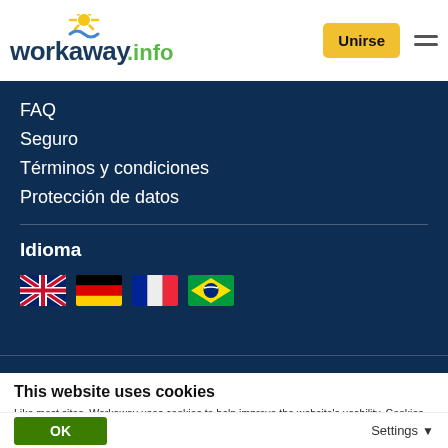workaway.info — Unirse
FAQ
Seguro
Términos y condiciones
Protección de datos
Idioma
[Figure (illustration): Four country flags: UK, Germany, France, Brazil]
This website uses cookies
Like most sites, Workaway uses cookies to help improve the website's usability. Cookies providing anonymous info help us to analyse site use as well as improve content and present social media features.  You consent to our cookies if you continue to use our website.
OK
Settings